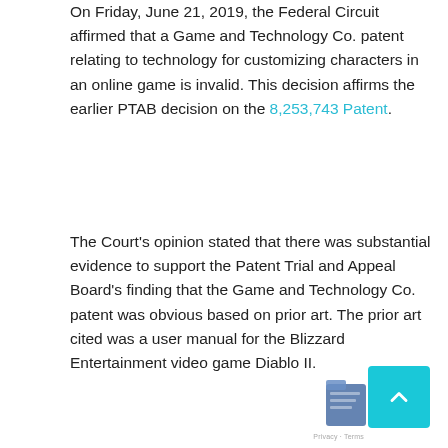On Friday, June 21, 2019, the Federal Circuit affirmed that a Game and Technology Co. patent relating to technology for customizing characters in an online game is invalid. This decision affirms the earlier PTAB decision on the 8,253,743 Patent.
The Court's opinion stated that there was substantial evidence to support the Patent Trial and Appeal Board's finding that the Game and Technology Co. patent was obvious based on prior art. The prior art cited was a user manual for the Blizzard Entertainment video game Diablo II.
The suit was first filed by Game and Tech against Blizzard in 2015 and separately